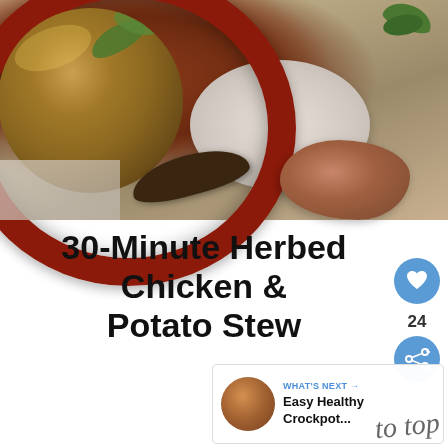[Figure (photo): Overhead photo of a red Le Creuset-style bowl filled with herbed chicken and potato stew, garnished with fresh thyme, on a marble surface with a wooden spoon, crusty bread, and greenery]
30-Minute Herbed Chicken & Potato Stew
24
WHAT'S NEXT → Easy Healthy Crockpot...